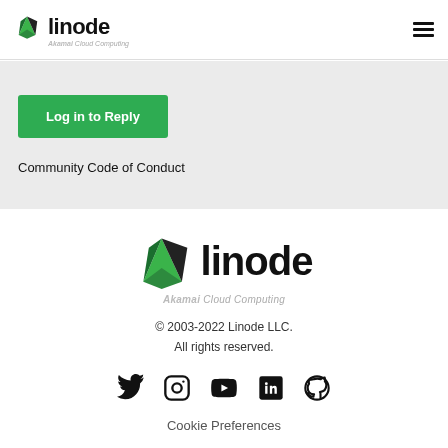linode — Akamai Cloud Computing
Log in to Reply
Community Code of Conduct
[Figure (logo): Linode logo with Akamai Cloud Computing tagline]
© 2003-2022 Linode LLC.
All rights reserved.
[Figure (infographic): Social media icons: Twitter, Instagram, YouTube, LinkedIn, GitHub]
Cookie Preferences